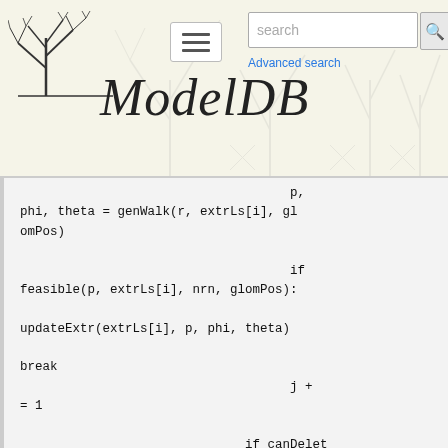ModelDB — Advanced search
p,
phi, theta = genWalk(r, extrLs[i], glomPos)

                                    if feasible(p, extrLs[i], nrn, glomPos):

updateExtr(extrLs[i], p, phi, theta)

break
                                    j +
= 1

                              if canDelete(extrLs[i], j >= GROW_MAX_ATTEMPTS):
                                    if len(extrLs[i].sec.points) <= 1 and extrLs[i].extr_type == Extreme.DENDRITE: